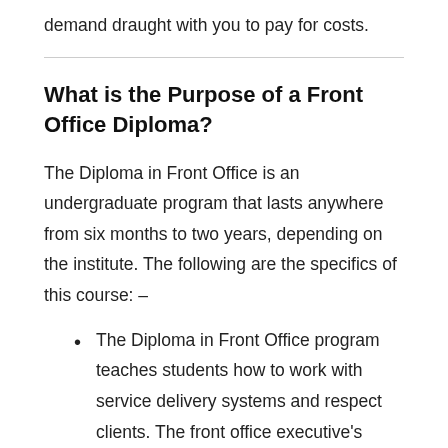demand draught with you to pay for costs.
What is the Purpose of a Front Office Diploma?
The Diploma in Front Office is an undergraduate program that lasts anywhere from six months to two years, depending on the institute. The following are the specifics of this course: –
The Diploma in Front Office program teaches students how to work with service delivery systems and respect clients. The front office executive's main responsibilities